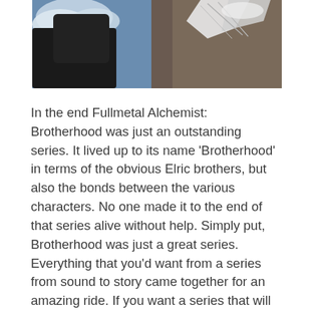[Figure (illustration): An anime screenshot from Fullmetal Alchemist: Brotherhood showing characters with dark clothing and white/light colored details against a blue sky background]
In the end Fullmetal Alchemist: Brotherhood was just an outstanding series. It lived up to its name 'Brotherhood' in terms of the obvious Elric brothers, but also the bonds between the various characters. No one made it to the end of that series alive without help. Simply put, Brotherhood was just a great series. Everything that you'd want from a series from sound to story came together for an amazing ride. If you want a series that will amaze you